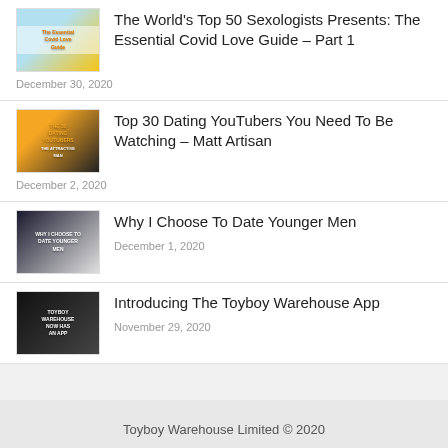The World's Top 50 Sexologists Presents: The Essential Covid Love Guide – Part 1
December 30, 2020
Top 30 Dating YouTubers You Need To Be Watching – Matt Artisan
December 2, 2020
Why I Choose To Date Younger Men
December 1, 2020
Introducing The Toyboy Warehouse App
November 29, 2020
Toyboy Warehouse Limited © 2020